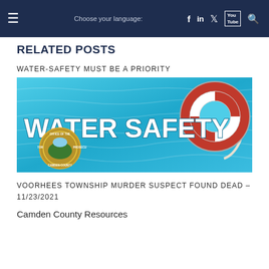Choose your language: f in [twitter] [youtube] [search]
RELATED POSTS
WATER-SAFETY MUST BE A PRIORITY
[Figure (photo): Water safety promotional image with 'WATER SAFETY' text overlaid on a blue swimming pool background, a red and white life preserver ring with rope, and an official prosecutor's office seal in the lower left.]
VOORHEES TOWNSHIP MURDER SUSPECT FOUND DEAD – 11/23/2021
Camden County Resources